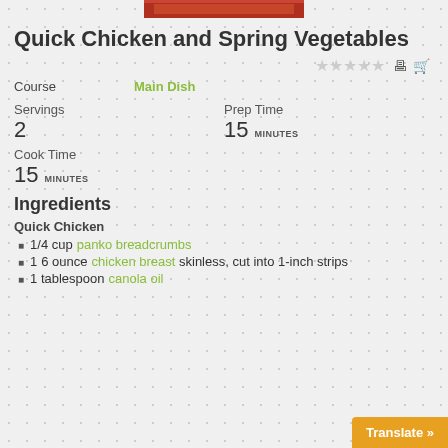[Figure (photo): Partial photo of a chicken dish, red/orange colored, cropped at top]
Quick Chicken and Spring Vegetables
Course: Main Dish
Servings: 2 | Prep Time: 15 MINUTES
Cook Time: 15 MINUTES
Ingredients
Quick Chicken
1/4 cup panko breadcrumbs
1 6 ounce chicken breast skinless, cut into 1-inch strips
1 tablespoon canola oil